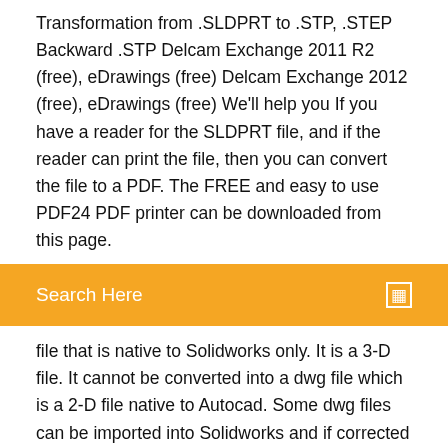Transformation from .SLDPRT to .STP, .STEP Backward .STP Delcam Exchange 2011 R2 (free), eDrawings (free) Delcam Exchange 2012 (free), eDrawings (free) We'll help you If you have a reader for the SLDPRT file, and if the reader can print the file, then you can convert the file to a PDF. The FREE and easy to use PDF24 PDF printer can be downloaded from this page.
Search Here
file that is native to Solidworks only. It is a 3-D file. It cannot be converted into a dwg file which is a 2-D file native to Autocad. Some dwg files can be imported into Solidworks and if corrected to requirements can be used to extrude, etc, and converted to SLDPRT but not the other way around. Gotchy SLDPRT is a file that is native to Solidworks only. It is a 3-D file. It cannot be converted into a dwg file which is a 2-D file native to Autocad. Some dwg files can be imported into Solidworks and if corrected to requirements can be used to extrude, etc, and converted to SLDPRT but not the other way around. Gotch